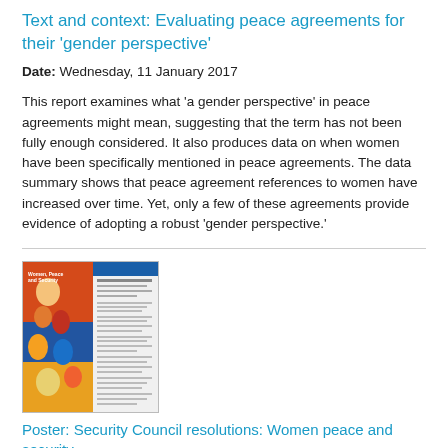Text and context: Evaluating peace agreements for their 'gender perspective'
Date: Wednesday, 11 January 2017
This report examines what 'a gender perspective' in peace agreements might mean, suggesting that the term has not been fully enough considered. It also produces data on when women have been specifically mentioned in peace agreements. The data summary shows that peace agreement references to women have increased over time. Yet, only a few of these agreements provide evidence of adopting a robust 'gender perspective.'
[Figure (photo): Poster image for Women, Peace and Security UN Security Council Resolutions document]
Poster: Security Council resolutions: Women peace and security
Date: Friday, 6 January 2017
The Women, Peace and Security UN Security Council Resolutions poster provides helpful overview of each of the right...